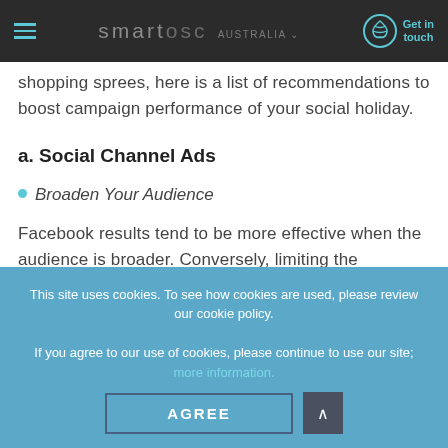smartosc AUSTRALIA | Get in touch
shopping sprees, here is a list of recommendations to boost campaign performance of your social holiday.
a. Social Channel Ads
Broaden Your Audience
Facebook results tend to be more effective when the audience is broader. Conversely, limiting the audience restrains the number of reachable people to the lowest price, which
This site uses cookies. To see how cookies are used, please review our cookie policy.

If you agree to our use of cookies, please continue to use our site; more information.